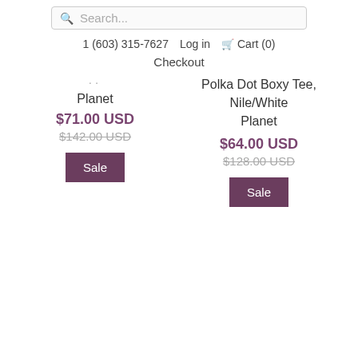Search...
1 (603) 315-7627   Log in   Cart (0)
Checkout
Planet
$71.00 USD
$142.00 USD
Polka Dot Boxy Tee, Nile/White
Planet
$64.00 USD
$128.00 USD
Sale
Sale